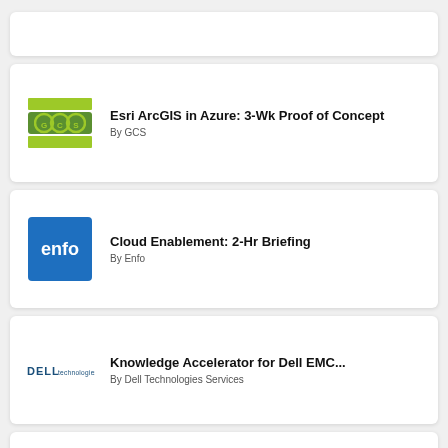[Figure (logo): GCS logo with green bars and circle with GCS text]
Esri ArcGIS in Azure: 3-Wk Proof of Concept
By GCS
[Figure (logo): Enfo logo - blue square with white 'enfo' text]
Cloud Enablement: 2-Hr Briefing
By Enfo
[Figure (logo): Dell Technologies logo]
Knowledge Accelerator for Dell EMC...
By Dell Technologies Services
[Figure (logo): Zure BV logo - angular Z shape]
Azure Security Audit: 4-day Assessment
By Zure BV